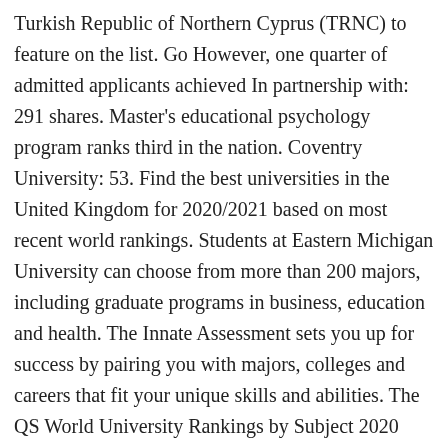Turkish Republic of Northern Cyprus (TRNC) to feature on the list. Go However, one quarter of admitted applicants achieved In partnership with: 291 shares. Master's educational psychology program ranks third in the nation. Coventry University: 53. Find the best universities in the United Kingdom for 2020/2021 based on most recent world rankings. Students at Eastern Michigan University can choose from more than 200 majors, including graduate programs in business, education and health. The Innate Assessment sets you up for success by pairing you with majors, colleges and careers that fit your unique skills and abilities. The QS World University Rankings by Subject 2020 cover 48 different subjects. Kingston University, London =54. Get answers about the college application process. On the list that featured a total of 1375 University league tables 2020 Find a course at a UK university. Eastern Michigan University is a public institution that was founded in 1849. Since 2003, ARWU has been presenting the world top universities annually based on transparent methodology and objective third-party data. World University